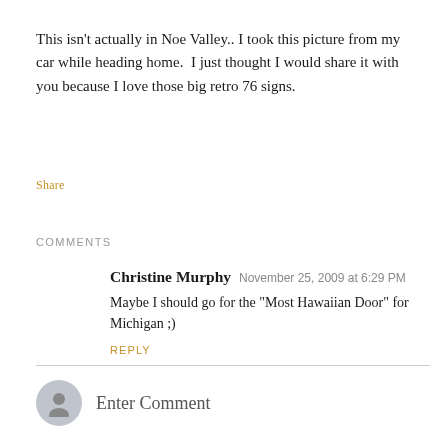This isn't actually in Noe Valley.. I took this picture from my car while heading home.  I just thought I would share it with you because I love those big retro 76 signs.
Share
COMMENTS
Christine Murphy  November 25, 2009 at 6:29 PM
Maybe I should go for the "Most Hawaiian Door" for Michigan ;)
REPLY
Enter Comment